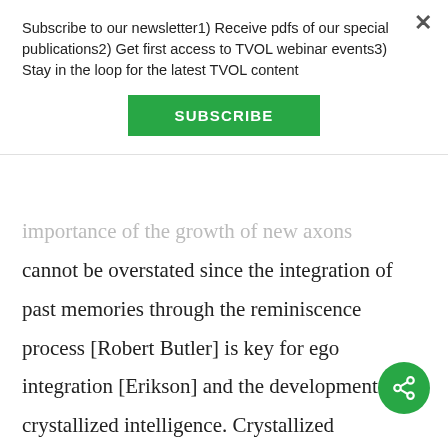Subscribe to our newsletter1) Receive pdfs of our special publications2) Get first access to TVOL webinar events3) Stay in the loop for the latest TVOL content
SUBSCRIBE
importance of the growth of new axons cannot be overstated since the integration of past memories through the reminiscence process [Robert Butler] is key for ego integration [Erikson] and the development of crystallized intelligence. Crystallized intelligence – based on life experience and its integration into a life